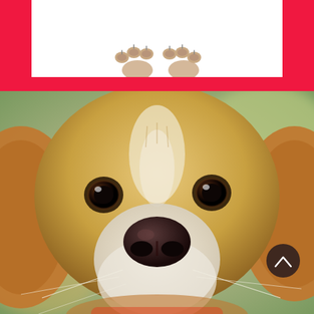[Figure (photo): Red banner background with a white rectangular inset showing dog paws from above, partially cropped]
[Figure (photo): Close-up photo of a Beagle dog face looking straight into the camera with a blurred background. A dark circular scroll-up button with a caret/chevron arrow is visible in the lower right.]